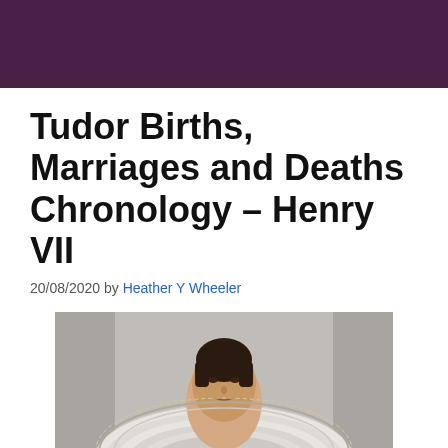Tudor Births, Marriages and Deaths Chronology – Henry VII
20/08/2020 by Heather Y Wheeler
[Figure (photo): Portrait painting of a Tudor-era woman wearing an elaborate white ruffled collar and dark clothing, historical portrait style]
BitLife - Life Simulator
Install!
Ad